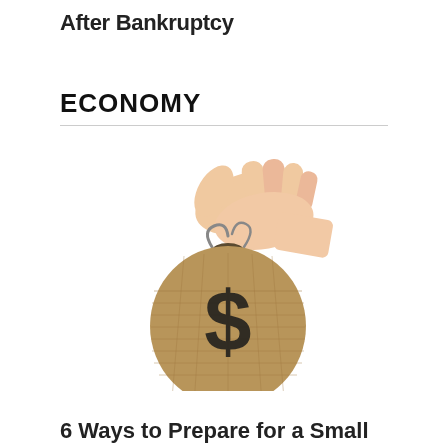After Bankruptcy
ECONOMY
[Figure (photo): A hand holding a burlap money bag with a dollar sign printed on it, on a white background.]
6 Ways to Prepare for a Small